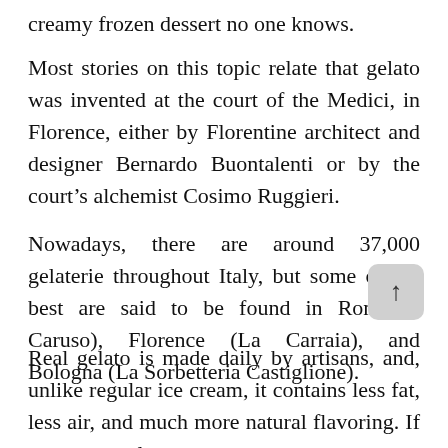creamy frozen dessert no one knows.
Most stories on this topic relate that gelato was invented at the court of the Medici, in Florence, either by Florentine architect and designer Bernardo Buontalenti or by the court’s alchemist Cosimo Ruggieri.
Nowadays, there are around 37,000 gelaterie throughout Italy, but some of the best are said to be found in Rome (I Caruso), Florence (La Carraia), and Bologna (La Sorbetteria Castiglione).
Real gelato is made daily by artisans, and, unlike regular ice cream, it contains less fat, less air, and much more natural flavoring. If you want to learn